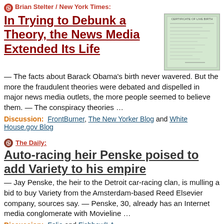Brian Stelter / New York Times:
In Trying to Debunk a Theory, the News Media Extended Its Life
[Figure (photo): Thumbnail image of a green-tinted document that appears to be Barack Obama's birth certificate]
— The facts about Barack Obama's birth never wavered.  But the more the fraudulent theories were debated and dispelled in major news media outlets, the more people seemed to believe them.  — The conspiracy theories …
Discussion:  FrontBurner, The New Yorker Blog and White House.gov Blog
The Daily:
Auto-racing heir Penske poised to add Variety to his empire
— Jay Penske, the heir to the Detroit car-racing clan, is mulling a bid to buy Variety from the Amsterdam-based Reed Elsevier company, sources say.  — Penske, 30, already has an Internet media conglomerate with Movieline …
Discussion:  Folio and FishbowlLA